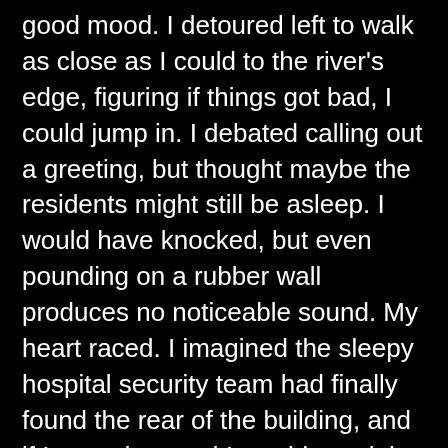good mood. I detoured left to walk as close as I could to the river's edge, figuring if things got bad, I could jump in. I debated calling out a greeting, but thought maybe the residents might still be asleep. I would have knocked, but even pounding on a rubber wall produces no noticeable sound. My heart raced. I imagined the sleepy hospital security team had finally found the rear of the building, and if I turned around I would run right into them. Being apprehended would be an aggravation and blow my momentum, but ahead I feared the moment when I would be able to see in and they, who ever they were, would be able to see me.